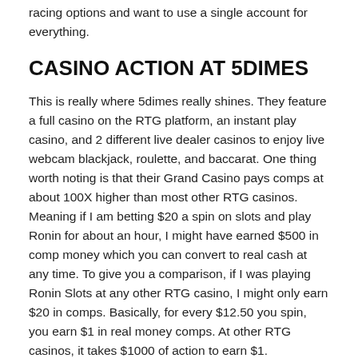racing options and want to use a single account for everything.
CASINO ACTION AT 5DIMES
This is really where 5dimes really shines. They feature a full casino on the RTG platform, an instant play casino, and 2 different live dealer casinos to enjoy live webcam blackjack, roulette, and baccarat. One thing worth noting is that their Grand Casino pays comps at about 100X higher than most other RTG casinos. Meaning if I am betting $20 a spin on slots and play Ronin for about an hour, I might have earned $500 in comp money which you can convert to real cash at any time. To give you a comparison, if I was playing Ronin Slots at any other RTG casino, I might only earn $20 in comps. Basically, for every $12.50 you spin, you earn $1 in real money comps. At other RTG casinos, it takes $1000 of action to earn $1.